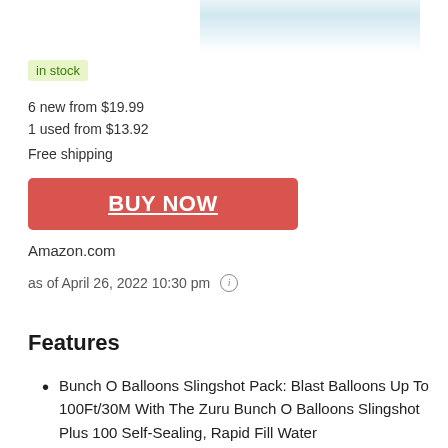[Figure (photo): Partial product image visible at top right corner of the page]
in stock
6 new from $19.99
1 used from $13.92
Free shipping
BUY NOW
Amazon.com
as of April 26, 2022 10:30 pm
Features
Bunch O Balloons Slingshot Pack: Blast Balloons Up To 100Ft/30M With The Zuru Bunch O Balloons Slingshot Plus 100 Self-Sealing, Rapid Fill Water